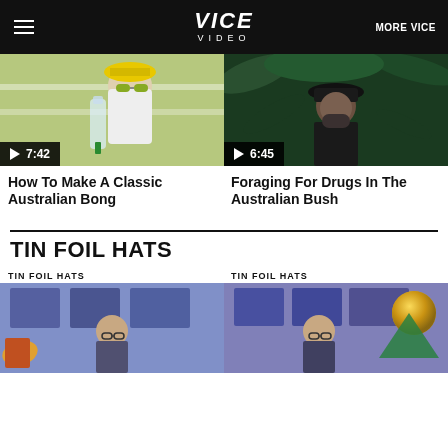VICE VIDEO | MORE VICE
[Figure (screenshot): Video thumbnail: person with yellow hat and sunglasses holding a water bottle bong, duration 7:42]
How To Make A Classic Australian Bong
[Figure (screenshot): Video thumbnail: man in black hat in bush/forest setting, duration 6:45]
Foraging For Drugs In The Australian Bush
TIN FOIL HATS
TIN FOIL HATS
[Figure (screenshot): Video thumbnail for Tin Foil Hats series: bald man with glasses in front of screens]
TIN FOIL HATS
[Figure (screenshot): Video thumbnail for Tin Foil Hats series: bald man with glasses and gold/green prop items]